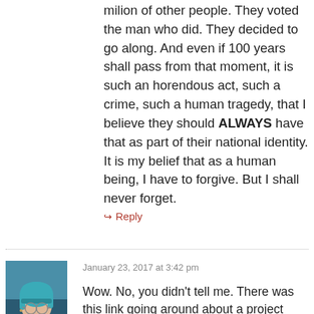milion of other people. They voted the man who did. They decided to go along. And even if 100 years shall pass from that moment, it is such an horendous act, such a crime, such a human tragedy, that I believe they should ALWAYS have that as part of their national identity. It is my belief that as a human being, I have to forgive. But I shall never forget.
↪ Reply
January 23, 2017 at 3:42 pm
[Figure (photo): Profile photo of a woman with blue hair and glasses, smiling]
★ Daniella
Wow. No, you didn't tell me. There was this link going around about a project someone did about that memorial, taking selfies people had posted online